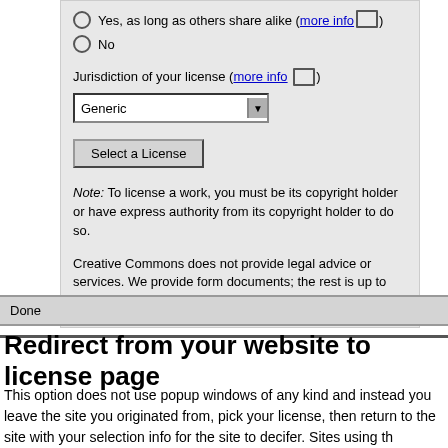Yes, as long as others share alike (more info)
No
Jurisdiction of your license (more info)
Generic [dropdown]
Select a License
Note: To license a work, you must be its copyright holder or have express authority from its copyright holder to do so.
Creative Commons does not provide legal advice or services. We provide form documents; the rest is up to you.
Done
Redirect from your website to license page
This option does not use popup windows of any kind and instead you leave the site you originated from, pick your license, then return to the site with your selection info for the site to decifer. Sites using th...